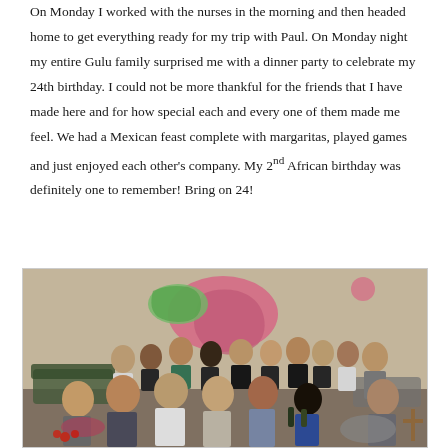On Monday I worked with the nurses in the morning and then headed home to get everything ready for my trip with Paul. On Monday night my entire Gulu family surprised me with a dinner party to celebrate my 24th birthday. I could not be more thankful for the friends that I have made here and for how special each and every one of them made me feel. We had a Mexican feast complete with margaritas, played games and just enjoyed each other's company. My 2nd African birthday was definitely one to remember! Bring on 24!
[Figure (photo): Group photo of approximately 20 people gathered in a room with a colorful world map painted on the wall behind them. People are seated and standing in two rows, appearing to be at a birthday dinner party celebration.]